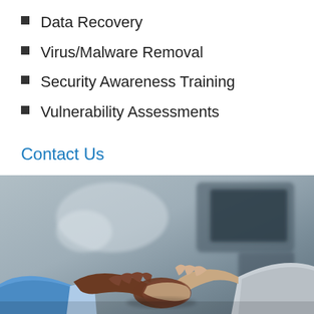Data Recovery
Virus/Malware Removal
Security Awareness Training
Vulnerability Assessments
Contact Us
[Figure (photo): Two people shaking hands in an office environment. One person wears a blue shirt, the other a white/light grey shirt. Background is blurred office interior.]